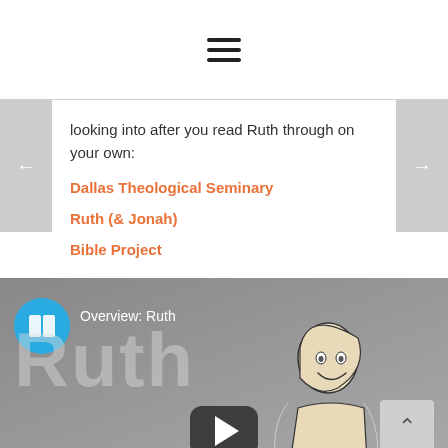≡ (hamburger menu icon)
looking into after you read Ruth through on your own:
Dallas Theological Seminary
Ruth (& Jonah)
Bible Project
[Figure (screenshot): Video thumbnail for 'Overview: Ruth' from Bible Project. Shows a circular blue icon with a book/page symbol, text 'Overview: Ruth', large grey text 'Ruth' in background, a play button in the center, a scroll-to-top button, and an illustration of a smiling woman in the bottom right.]